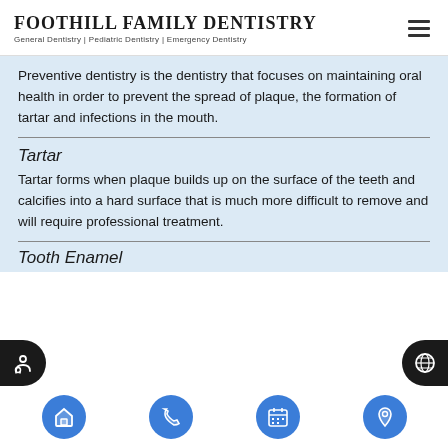FOOTHILL FAMILY DENTISTRY
General Dentistry | Pediatric Dentistry | Emergency Dentistry
Preventive dentistry is the dentistry that focuses on maintaining oral health in order to prevent the spread of plaque, the formation of tartar and infections in the mouth.
Tartar
Tartar forms when plaque builds up on the surface of the teeth and calcifies into a hard surface that is much more difficult to remove and will require professional treatment.
Tooth Enamel